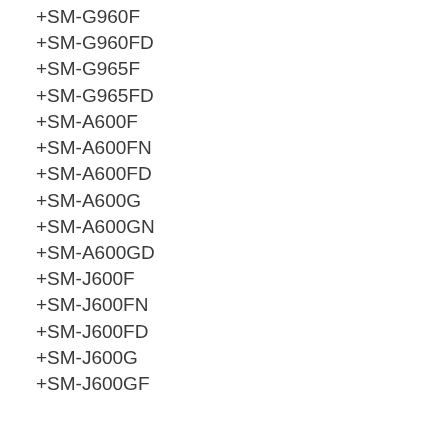+SM-G960F
+SM-G960FD
+SM-G965F
+SM-G965FD
+SM-A600F
+SM-A600FN
+SM-A600FD
+SM-A600G
+SM-A600GN
+SM-A600GD
+SM-J600F
+SM-J600FN
+SM-J600FD
+SM-J600G
+SM-J600GF